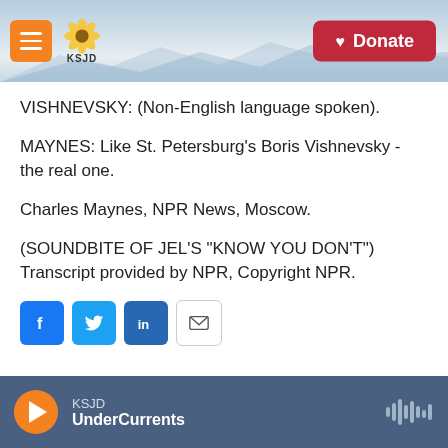[Figure (screenshot): KSJD radio website header with orange menu button, KSJD sunflower logo, mountain background, and red Donate button]
VISHNEVSKY: (Non-English language spoken).
MAYNES: Like St. Petersburg's Boris Vishnevsky - the real one.
Charles Maynes, NPR News, Moscow.
(SOUNDBITE OF JEL'S "KNOW YOU DON'T") Transcript provided by NPR, Copyright NPR.
[Figure (screenshot): Social share buttons: Facebook (blue f), Twitter (blue bird), LinkedIn (blue in), Email (envelope icon)]
KSJD UnderCurrents